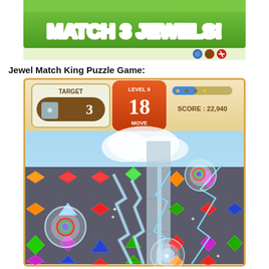[Figure (screenshot): Screenshot of a match-3 jewel game showing 'MATCH 3 JEWELS!' title on a green banner with game UI elements]
Jewel Match King Puzzle Game:
[Figure (screenshot): Screenshot of Jewel Match King Puzzle Game showing Level 9, 18 moves remaining, target of 3, score 22,940, with colorful jewels on a game board and lightning effects]